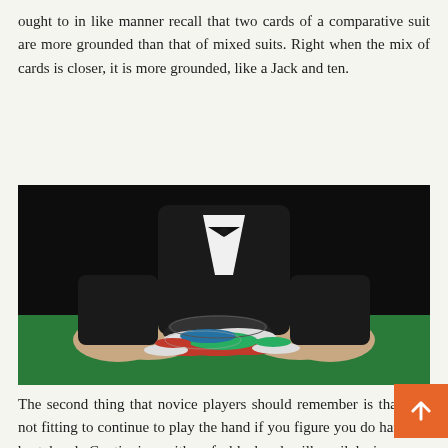ought to in like manner recall that two cards of a comparative suit are more grounded than that of mixed suits. Right when the mix of cards is closer, it is more grounded, like a Jack and ten.
[Figure (photo): A casino dealer in a black tuxedo with bow tie sweeping a large pile of casino chips (black, white, red, blue, green) across a green felt table with both hands open.]
The second thing that novice players should remember is that it is not fitting to continue to play the hand if you figure you do have the best hand. Continuing with a feeble hand will peril losing more money. For instance, if you have